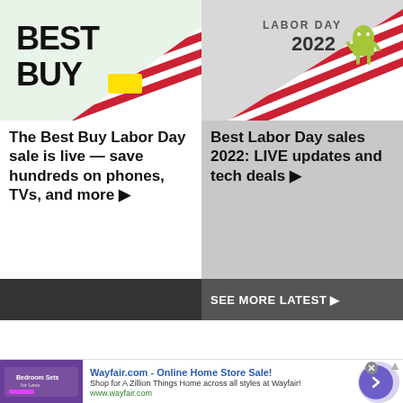[Figure (illustration): Best Buy logo on light green background with US flag diagonal stripe]
The Best Buy Labor Day sale is live — save hundreds on phones, TVs, and more ▶
[Figure (illustration): Labor Day 2022 text with Android mascot and US flag on light gray background]
Best Labor Day sales 2022: LIVE updates and tech deals ▶
SEE MORE LATEST ▶
[Figure (advertisement): Wayfair.com advertisement with bedroom furniture thumbnail]
Wayfair.com - Online Home Store Sale!
Shop for A Zillion Things Home across all styles at Wayfair!
www.wayfair.com